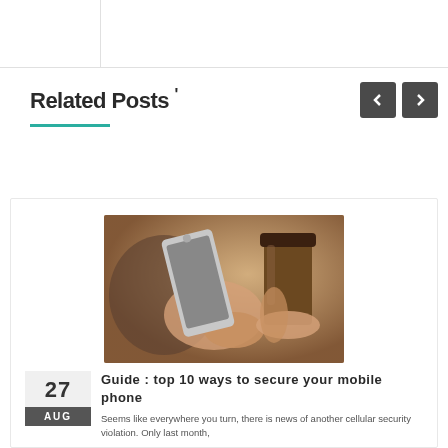Related Posts '
[Figure (photo): Person holding a smartphone next to a coffee cup]
27 AUG
Guide : top 10 ways to secure your mobile phone
Seems like everywhere you turn, there is news of another cellular security violation. Only last month,